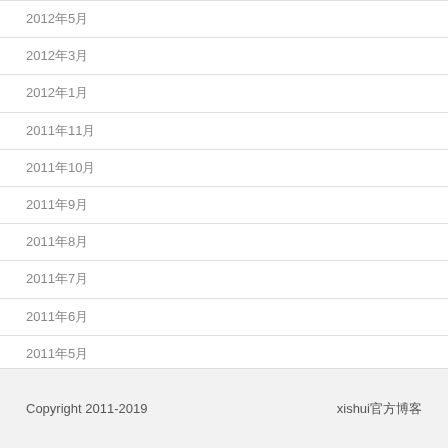2012年5月
2012年3月
2012年1月
2011年11月
2011年10月
2011年9月
2011年8月
2011年7月
2011年6月
2011年5月
2011年4月
Copyright 2011-2019    xishui官方博客